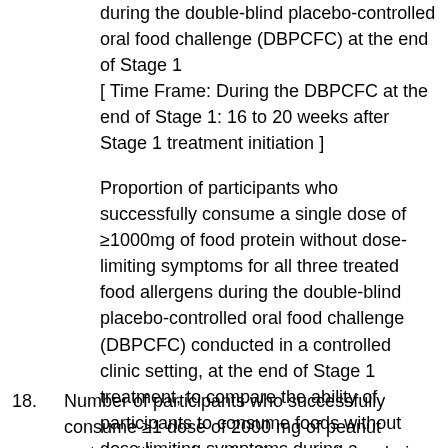during the double-blind placebo-controlled oral food challenge (DBPCFC) at the end of Stage 1 [ Time Frame: During the DBPCFC at the end of Stage 1: 16 to 20 weeks after Stage 1 treatment initiation ]
Proportion of participants who successfully consume a single dose of ≥1000mg of food protein without dose-limiting symptoms for all three treated food allergens during the double-blind placebo-controlled oral food challenge (DBPCFC) conducted in a controlled clinic setting, at the end of Stage 1 treatment, to compare the ability of participants to consume foods without dose-limiting symptoms during a DBPCFC after treatment with either omalizumab or placebo for omalizumab. Dose-limiting symptoms are those that in the view of the principal investigator indicate a true allergic reaction.
18. Number of participants who successfully consume ≥1 dose of 2000 mg of peanut protein without dose-limiting symptoms during the double-blind placebo-controlled